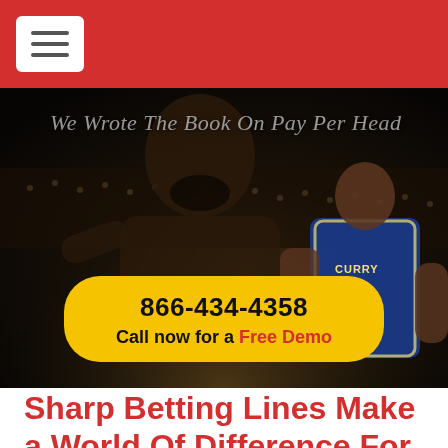[Figure (photo): Basketball hero image showing two players — one yelling with mouth wide open in the background, and another wearing a Golden State Warriors jersey #30 Curry in the foreground. Dark moody court/arena background. Overlaid italic text: 'We Wrote The Book On Pay Per Head'. Yellow pill-shaped call-to-action button: '866-434-4358 / Call now for a Free Demo']
Sharp Betting Lines Make a World Of Difference For Pay Per Head Bookies!